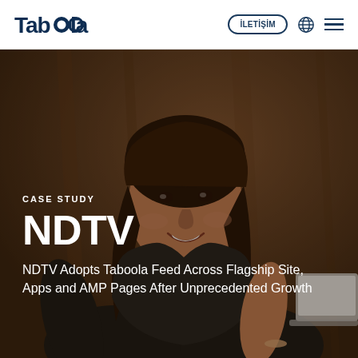Taboola — İLETİŞİM
[Figure (photo): Young woman smiling, looking down at a laptop, dark background with warm brown tones. Used as hero background image for a case study page.]
CASE STUDY
NDTV
NDTV Adopts Taboola Feed Across Flagship Site, Apps and AMP Pages After Unprecedented Growth